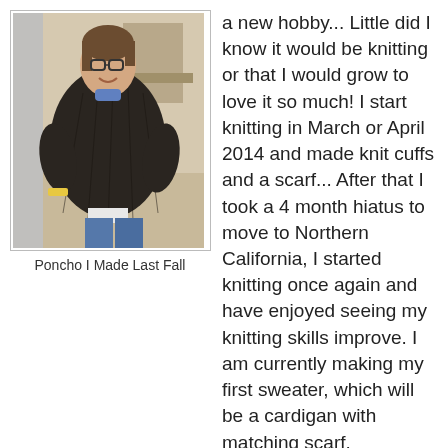[Figure (photo): Woman wearing a dark knitted poncho, standing indoors, smiling, wearing glasses and jeans]
Poncho I Made Last Fall
a new hobby... Little did I know it would be knitting or that I would grow to love it so much! I start knitting in March or April 2014 and made knit cuffs and a scarf... After that I took a 4 month hiatus to move to Northern California, I started knitting once again and have enjoyed seeing my knitting skills improve. I am currently making my first sweater, which will be a cardigan with matching scarf.
I also have a knitting blog called My Knitting Journey, One Stitch At A Time! if you are interested in seeing